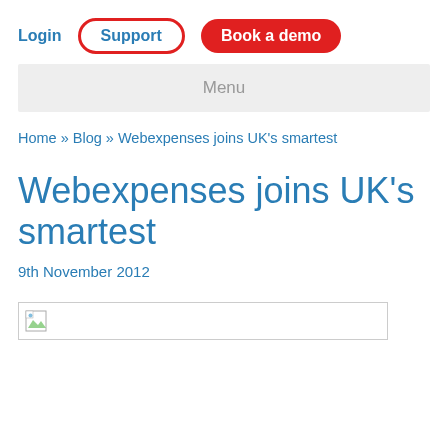Login  Support  Book a demo
Menu
Home » Blog » Webexpenses joins UK's smartest
Webexpenses joins UK's smartest
9th November 2012
[Figure (photo): Broken image placeholder]